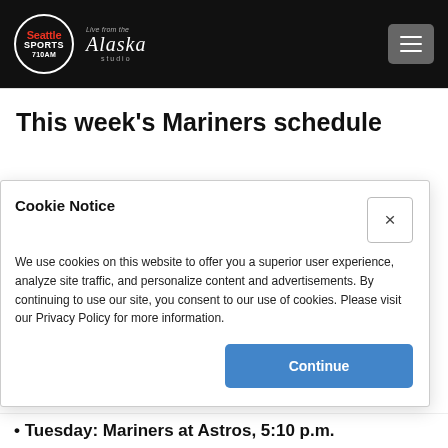Seattle Sports 710AM — Live from the Alaska Studio
This week's Mariners schedule
Cookie Notice
We use cookies on this website to offer you a superior user experience, analyze site traffic, and personalize content and advertisements. By continuing to use our site, you consent to our use of cookies. Please visit our Privacy Policy for more information.
Tuesday: Mariners at Astros, 5:10 p.m.